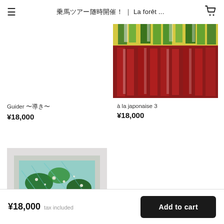乗馬ツアー随時開催！ | La forêt ...
Guider 〜導き〜
¥18,000
[Figure (photo): Abstract colorful artwork with red and green vertical brush strokes — à la japonaise 3]
à la japonaise 3
¥18,000
[Figure (photo): Abstract green speckled painting on light background]
¥18,000  tax included  Add to cart